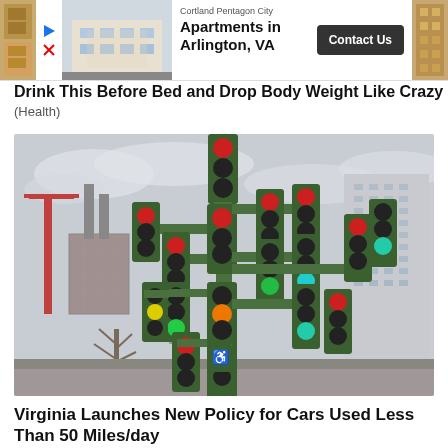[Figure (screenshot): Advertisement banner for Cortland Pentagon City Apartments in Arlington, VA with a Contact Us button, thumbnail of apartment building, and decorative side images]
Drink This Before Bed and Drop Body Weight Like Crazy
(Health)
[Figure (photo): Photograph of a large cluster of traffic lights mounted on a single green pole/trunk resembling a tree, with various lights showing red, green, and yellow, set against an urban skyline background with construction cranes and high-rise buildings]
Virginia Launches New Policy for Cars Used Less Than 50 Miles/day